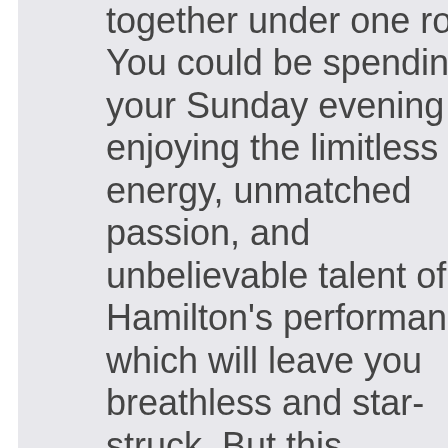together under one roof. You could be spending your Sunday evening enjoying the limitless energy, unmatched passion, and unbelievable talent of Hamilton's performance which will leave you breathless and star-struck. But this unforgettable performance won't be here forever and tickets are already flying off the shelves. So make sure that you mark your calendars, clear your schedules, and book your tickets to see